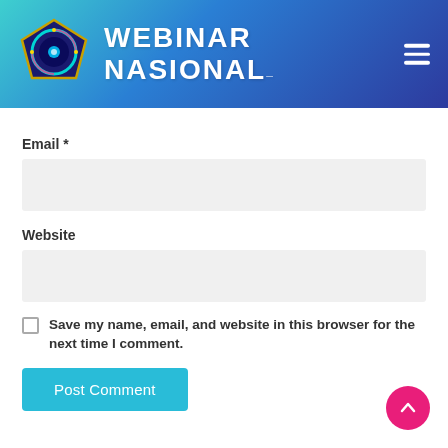[Figure (logo): Webinar Nasional website header with circular institution logo on the left, white bold text 'WEBINAR NASIONAL' and hamburger menu icon on the right, gradient teal to dark blue background]
Email *
Website
Save my name, email, and website in this browser for the next time I comment.
Post Comment